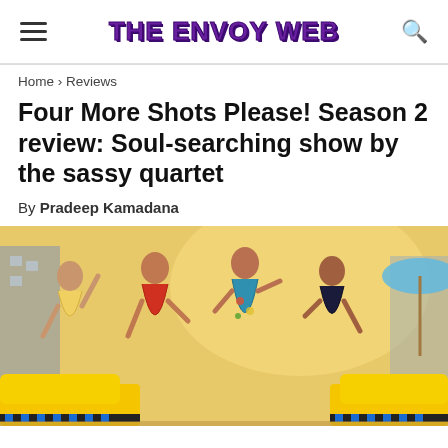THE ENVOY WEB
Home › Reviews
Four More Shots Please! Season 2 review: Soul-searching show by the sassy quartet
By Pradeep Kamadana
[Figure (photo): Four women posing together outdoors near a yellow taxi cab, dressed in colorful outfits, laughing and celebrating]